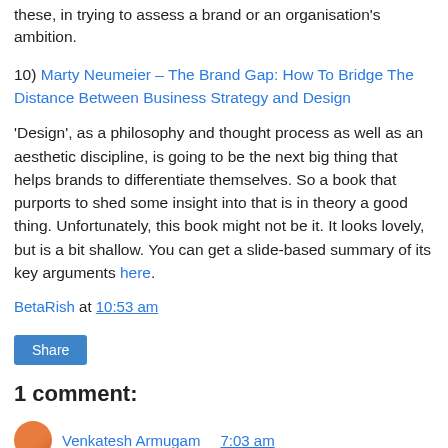these, in trying to assess a brand or an organisation's ambition.
10) Marty Neumeier – The Brand Gap: How To Bridge The Distance Between Business Strategy and Design
'Design', as a philosophy and thought process as well as an aesthetic discipline, is going to be the next big thing that helps brands to differentiate themselves. So a book that purports to shed some insight into that is in theory a good thing. Unfortunately, this book might not be it. It looks lovely, but is a bit shallow. You can get a slide-based summary of its key arguments here.
BetaRish at 10:53 am
Share
1 comment:
Venkatesh Armugam 7:03 am